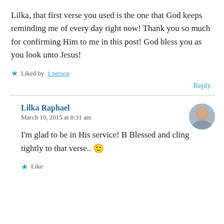Lilka, that first verse you used is the one that God keeps reminding me of every day right now! Thank you so much for confirming Him to me in this post! God bless you as you look unto Jesus!
★ Liked by 1 person
Reply
Lilka Raphael
March 10, 2015 at 8:31 am
I'm glad to be in His service! B Blessed and cling tightly to that verse.. 🙂
★ Like